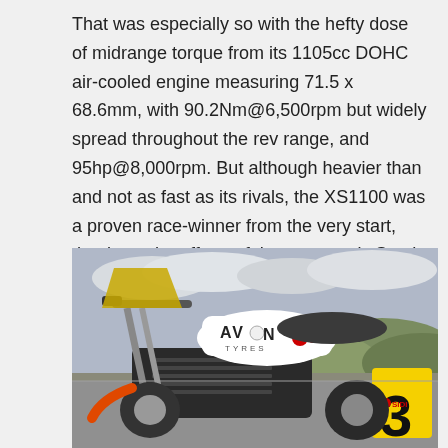That was especially so with the hefty dose of midrange torque from its 1105cc DOHC air-cooled engine measuring 71.5 x 68.6mm, with 90.2Nm@6,500rpm but widely spread throughout the rev range, and 95hp@8,000rpm. But although heavier than and not as fast as its rivals, the XS1100 was a proven race-winner from the very start, thanks to the efforts of the company's South Australian importer, Pitmans Motorcycles.
[Figure (photo): A racing motorcycle with white tank bearing AVON TYRES and SIDI logos, with a yellow number 3 race plate visible on the right side, photographed outdoors on a race track with hills and cloudy sky in the background.]